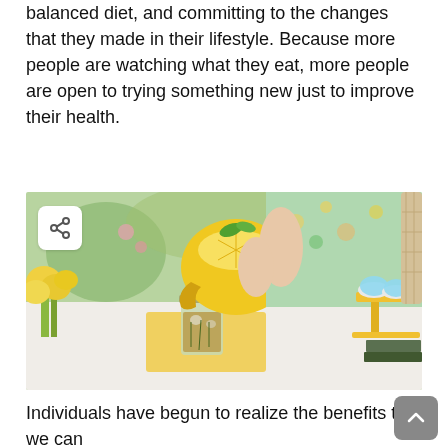balanced diet, and committing to the changes that they made in their lifestyle. Because more people are watching what they eat, more people are open to trying something new just to improve their health.
[Figure (photo): A person in a floral dress pouring liquid from a yellow lemon-shaped pitcher into a mason jar glass, set on a table with yellow flowers and cupcakes on a cake stand]
Individuals have begun to realize the benefits that we can